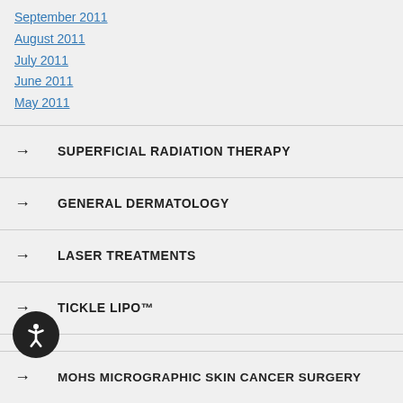September 2011
August 2011
July 2011
June 2011
May 2011
→ SUPERFICIAL RADIATION THERAPY
→ GENERAL DERMATOLOGY
→ LASER TREATMENTS
→ TICKLE LIPO™
→ COSMETIC SURGERY
→ MOHS MICROGRAPHIC SKIN CANCER SURGERY